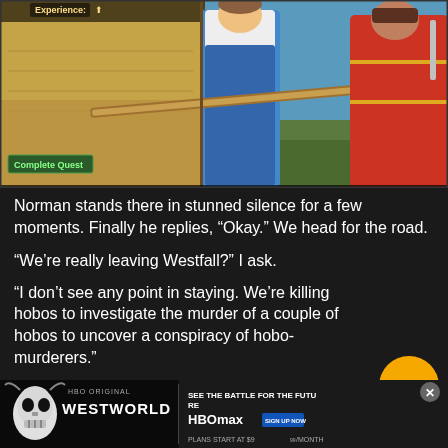[Figure (screenshot): Video game screenshot showing a quest completion UI with a parchment map on the left and two game characters (one in blue overalls holding a staff, one in red robes) on the right against a blue sky and green landscape background. A 'Complete Quest' button is visible in the lower left of the UI panel.]
Norman stands there in stunned silence for a few moments. Finally he replies, “Okay.” We head for the road.
“We’re really leaving Westfall?” I ask.
“I don’t see any point in staying. We’re killing hobos to investigate the murder of a couple of hobos to uncover a conspiracy of hobo-murderers.”
[Figure (logo): Orange circular badge with stylized 'e+' text in white]
“You know boss, I’m proud of you,” I tell him.
“You’re
[Figure (screenshot): Advertisement banner for HBO's Westworld TV show featuring a skull image on the left, WESTWORLD logo text, and HBO Max branding with 'SEE THE BATTLE FOR THE FUTURE' text and 'SIGN UP NOW' button on the right. Plans start at $9.99/month.]